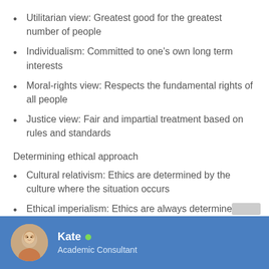Utilitarian view: Greatest good for the greatest number of people
Individualism: Committed to one's own long term interests
Moral-rights view: Respects the fundamental rights of all people
Justice view: Fair and impartial treatment based on rules and standards
Determining ethical approach
Cultural relativism: Ethics are determined by the culture where the situation occurs
Ethical imperialism: Ethics are always determined by the organizations “home” culture
Kate • Academic Consultant